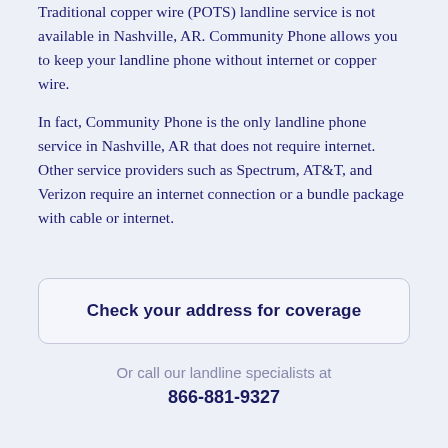Traditional copper wire (POTS) landline service is not available in Nashville, AR. Community Phone allows you to keep your landline phone without internet or copper wire.
In fact, Community Phone is the only landline phone service in Nashville, AR that does not require internet. Other service providers such as Spectrum, AT&T, and Verizon require an internet connection or a bundle package with cable or internet.
Check your address for coverage
Or call our landline specialists at
866-881-9327